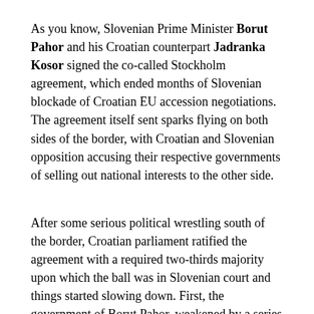As you know, Slovenian Prime Minister Borut Pahor and his Croatian counterpart Jadranka Kosor signed the co-called Stockholm agreement, which ended months of Slovenian blockade of Croatian EU accession negotiations. The agreement itself sent sparks flying on both sides of the border, with Croatian and Slovenian opposition accusing their respective governments of selling out national interests to the other side.
After some serious political wrestling south of the border, Croatian parliament ratified the agreement with a required two-thirds majority upon which the ball was in Slovenian court and things started slowing down. First, the government of Borut Pahor, weakened by a series of more or less serious scandals and – combined with mounting burden of the economic crisis – lost the parliamentary majority.